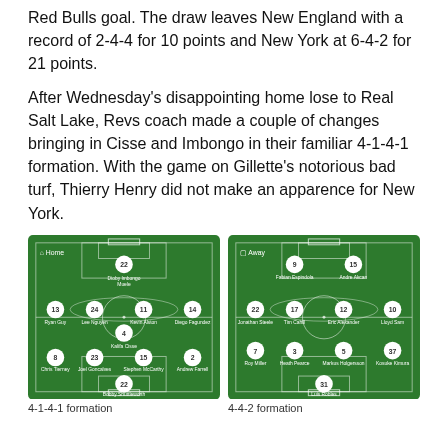Red Bulls goal. The draw leaves New England with a record of 2-4-4 for 10 points and New York at 6-4-2 for 21 points.
After Wednesday's disappointing home lose to Real Salt Lake, Revs coach made a couple of changes bringing in Cisse and Imbongo in their familiar 4-1-4-1 formation. With the game on Gillette's notorious bad turf, Thierry Henry did not make an apparence for New York.
[Figure (infographic): Home team (New England) soccer formation diagram on a green pitch showing 4-1-4-1 formation with player numbers and names: 22-Dioby Imbongo Muele, 13-Ryan Guy, 24-Lee Nguyen, 11-Kevin Alston, 14-Diego Fagundez, 4-Kaith Cisse, 8-Chris Tierney, 23-Joel Gonçalves, 15-Stephen McCarthy, 2-Andrew Farrell, 22-Bobby Shuttleworth]
4-1-4-1 formation
[Figure (infographic): Away team (New York Red Bulls) soccer formation diagram on a green pitch showing 4-4-2 formation with player numbers and names: 9-Fabian Espindola, 15-Andre Akcan, 22-Jonathan Steele, 17-Tim Cahill, 12-Eric Alexander, 10-Lloyd Sam, 7-Roy Miller, 3-Heath Pearce, 5-Markus Holgersson, 37-Kosuke Kimura, 31-Luis Robles]
4-4-2 formation